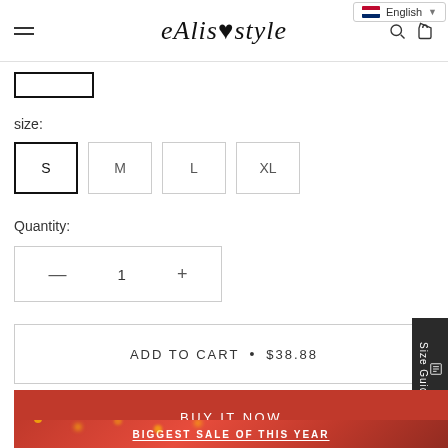eAlisastyle
size:
S  M  L  XL
Quantity:
- 1 +
ADD TO CART  •  $38.88
Size Guide
BUY IT NOW
BIGGEST SALE OF THIS YEAR